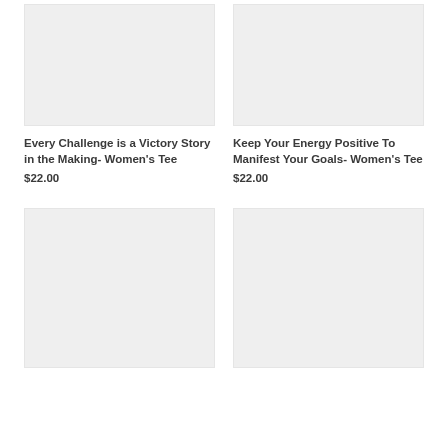[Figure (photo): Product image placeholder – light gray rectangle for top-left item]
[Figure (photo): Product image placeholder – light gray rectangle for top-right item]
Every Challenge is a Victory Story in the Making- Women's Tee
$22.00
Keep Your Energy Positive To Manifest Your Goals- Women's Tee
$22.00
[Figure (photo): Product image placeholder – light gray rectangle for bottom-left item]
[Figure (photo): Product image placeholder – light gray rectangle for bottom-right item]